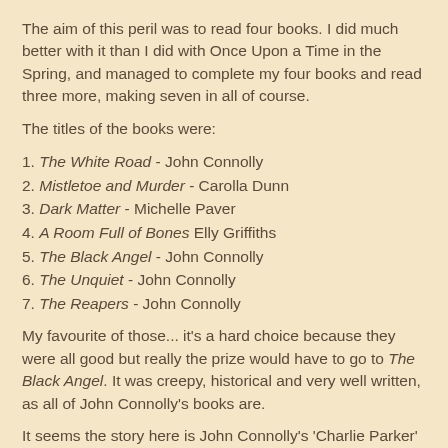The aim of this peril was to read four books. I did much better with it than I did with Once Upon a Time in the Spring, and managed to complete my four books and read three more, making seven in all of course.
The titles of the books were:
1. The White Road - John Connolly
2. Mistletoe and Murder - Carolla Dunn
3. Dark Matter - Michelle Paver
4. A Room Full of Bones Elly Griffiths
5. The Black Angel - John Connolly
6. The Unquiet - John Connolly
7. The Reapers - John Connolly
My favourite of those... it's a hard choice because they were all good but really the prize would have to go to The Black Angel. It was creepy, historical and very well written, as all of John Connolly's books are.
It seems the story here is John Connolly's 'Charlie Parker' books! I got hooked on them to the exclusion of almost